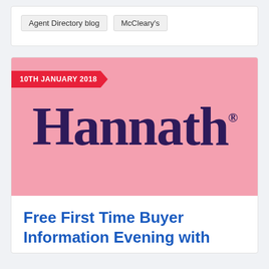Agent Directory blog
McCleary's
10TH JANUARY 2018
[Figure (logo): Hannath brand logo in dark purple serif font on pink background with registered trademark symbol]
Free First Time Buyer Information Evening with